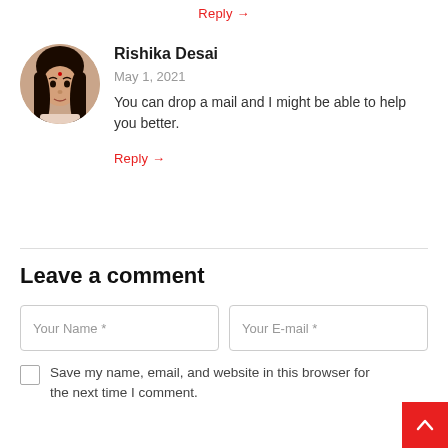Reply →
[Figure (photo): Circular avatar photo of Rishika Desai, a young woman with long dark hair wearing a floral top]
Rishika Desai
May 1, 2021
You can drop a mail and I might be able to help you better.
Reply →
Leave a comment
Your Name *
Your E-mail *
Save my name, email, and website in this browser for the next time I comment.